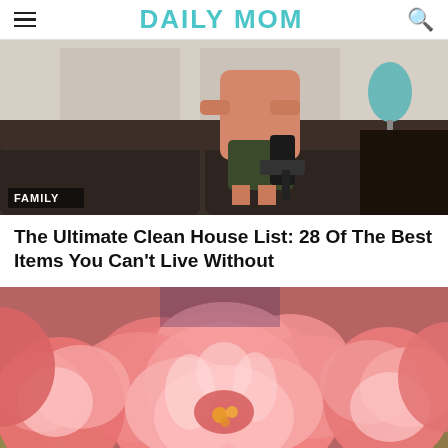DAILY MOM
[Figure (photo): Person vacuuming a dark couch in a living room with a teal lamp in the background. A 'FAMILY' label overlay appears at the bottom left.]
The Ultimate Clean House List: 28 Of The Best Items You Can't Live Without
[Figure (photo): Close-up of pink and coral peonies in full bloom.]